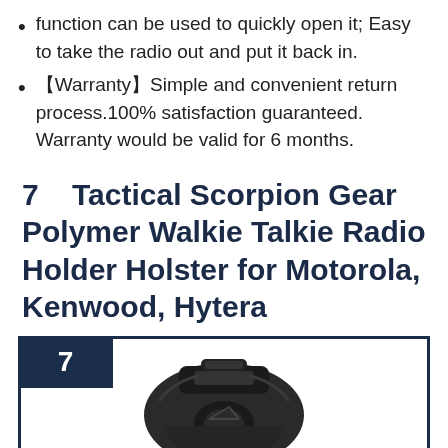function can be used to quickly open it; Easy to take the radio out and put it back in.
【Warranty】Simple and convenient return process.100% satisfaction guaranteed. Warranty would be valid for 6 months.
7   Tactical Scorpion Gear Polymer Walkie Talkie Radio Holder Holster for Motorola, Kenwood, Hytera
[Figure (photo): Product image of a black polymer walkie talkie radio holder holster inside a dark navy bordered box with the number 7 badge in the top-left corner.]